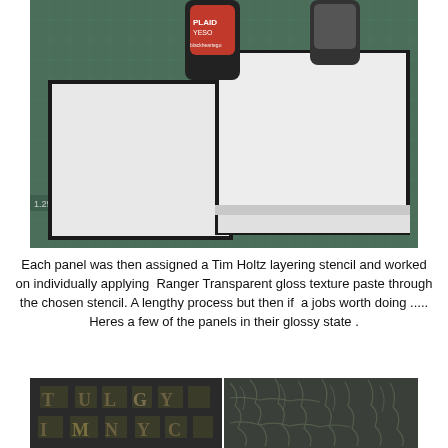[Figure (photo): Photo showing two white canvas panels/boards on a green cutting mat, with jars of Plaid Gesso and another product visible in the background.]
Each panel was then assigned a Tim Holtz layering stencil and worked on individually applying  Ranger Transparent gloss texture paste through the chosen stencil. A lengthy process but then if  a jobs worth doing ..... Heres a few of the panels in their glossy state .
[Figure (photo): Two side-by-side photos of dark panels with glossy texture paste applied through stencils — left panel shows raised letter/alphabet stencil texture, right panel shows a crackle/branch pattern texture.]